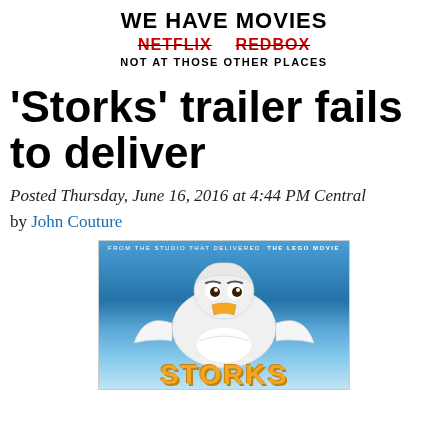WE HAVE MOVIES
NETFLIX  REDBOX
NOT AT THOSE OTHER PLACES
'Storks' trailer fails to deliver
Posted Thursday, June 16, 2016 at 4:44 PM Central
by John Couture
[Figure (photo): Movie poster for 'Storks' animated film showing a cartoon white stork bird holding a bundle, with text 'FROM THE STUDIO THAT DELIVERED THE LEGO MOVIE' at top and 'STORKS' text at bottom, blue sky background]